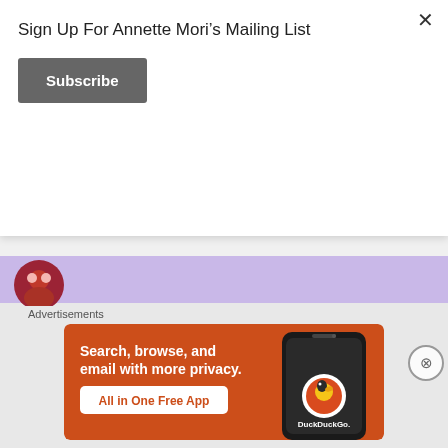Sign Up For Annette Mori's Mailing List
Subscribe
[Figure (illustration): Partial avatar/profile image visible at top of comment, red/brown circular icon]
The house looks gorgeous. I think I would have given up the Condo. What a beautiful home. Your having my luck, know stop it. Can't wait for you to get back into the writing groove. It is so worth all this work to have Jody and yourself under the same roof 7 days a week. Nothing better than sleeping next to your wife, instead of empty space. Good Luck in your new / old home
Advertisements
[Figure (screenshot): DuckDuckGo advertisement banner: orange background, white bold text 'Search, browse, and email with more privacy.' with 'All in One Free App' button and phone illustration with DuckDuckGo logo]